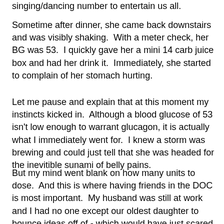singing/dancing number to entertain us all.
Sometime after dinner, she came back downstairs and was visibly shaking.  With a meter check, her BG was 53.  I quickly gave her a mini 14 carb juice box and had her drink it.  Immediately, she started to complain of her stomach hurting.
Let me pause and explain that at this moment my instincts kicked in.  Although a blood glucose of 53 isn't low enough to warrant glucagon, it is actually what I immediately went for.  I knew a storm was brewing and could just tell that she was headed for the inevitible sunami of belly pains.
But my mind went blank on how many units to dose.  And this is where having friends in the DOC is most important.  My husband was still at work and I had no one except our oldest daughter to bounce ideas off of - which would have just scared her at the mere mention of glucagon.  I picked up my cell phone and immediately called a mom who has done mini-glucagon injections for her own